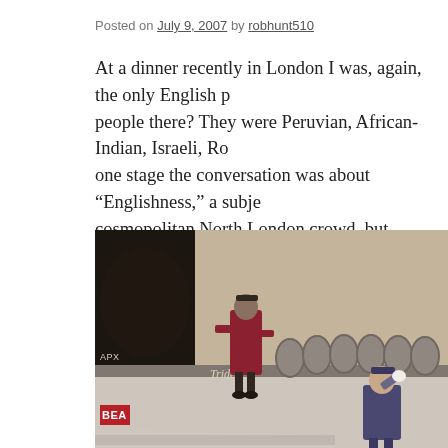Posted on July 9, 2007 by robhunt510
At a dinner recently in London I was, again, the only English p people there? They were Peruvian, African-Indian, Israeli, Ro one stage the conversation was about “Englishness,” a subje cosmopolitan North London crowd, but English people from capital, through the south, north, east and west of the count class, profession, relationship to the monarchy, political part
[Figure (photo): Vintage BEA (British European Airways) photo showing two stewardesses in period uniforms posed on a Trident aircraft. One stewardess wearing a dark red/maroon coat stands on the wing, another in a purple/navy uniform salutes near the nose of the aircraft. The aircraft fuselage shows oval windows and BEA branding.]